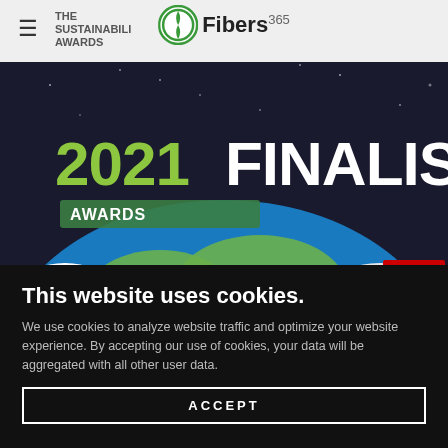THE SUSTAINABILITY AWARDS — Fibers 365 logo
[Figure (screenshot): The Sustainability Awards 2021 FINALIST banner image featuring a stylized globe with green continents and white clouds on a dark background, with 'PACKAGING EUROPE' logo in the bottom right corner. Green text '2021' and white bold text 'FINALIST' prominently displayed.]
This website uses cookies.
We use cookies to analyze website traffic and optimize your website experience. By accepting our use of cookies, your data will be aggregated with all other user data.
ACCEPT